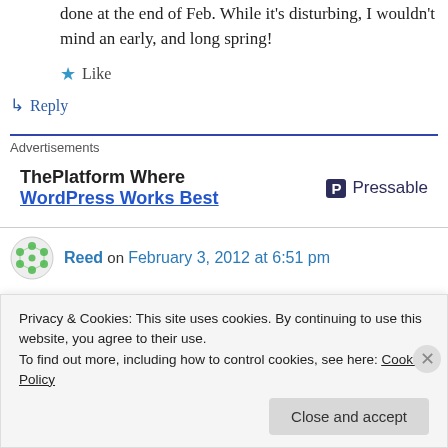done at the end of Feb. While it’s disturbing, I wouldn’t mind an early, and long spring!
★ Like
↳ Reply
Advertisements
[Figure (screenshot): Pressable advertisement banner: ThePlatform Where WordPress Works Best]
Reed on February 3, 2012 at 6:51 pm
Privacy & Cookies: This site uses cookies. By continuing to use this website, you agree to their use.
To find out more, including how to control cookies, see here: Cookie Policy